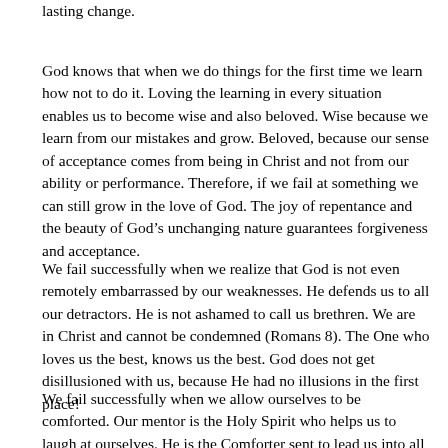lasting change.
God knows that when we do things for the first time we learn how not to do it. Loving the learning in every situation enables us to become wise and also beloved. Wise because we learn from our mistakes and grow. Beloved, because our sense of acceptance comes from being in Christ and not from our ability or performance. Therefore, if we fail at something we can still grow in the love of God. The joy of repentance and the beauty of God's unchanging nature guarantees forgiveness and acceptance.
We fail successfully when we realize that God is not even remotely embarrassed by our weaknesses. He defends us to all our detractors. He is not ashamed to call us brethren. We are in Christ and cannot be condemned (Romans 8). The One who loves us the best, knows us the best. God does not get disillusioned with us, because He had no illusions in the first place!
We fail successfully when we allow ourselves to be comforted. Our mentor is the Holy Spirit who helps us to laugh at ourselves. He is the Comforter sent to lead us into all truth. When we are embarrassed at the truth of our current mindset or behavior He comforts us so that we